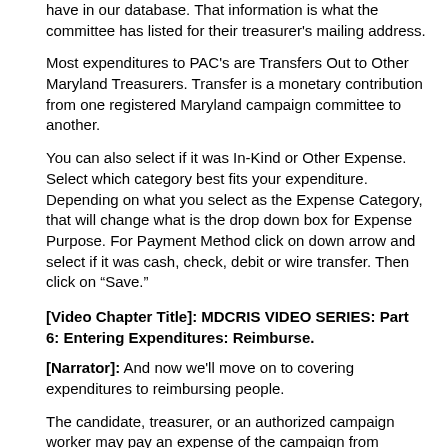have in our database.  That information is what the committee has listed for their treasurer's mailing address.
Most expenditures to PAC's are Transfers Out to Other Maryland Treasurers.  Transfer is a monetary contribution from one registered Maryland campaign committee to another.
You can also select if it was In-Kind or Other Expense.  Select which category best fits your expenditure.  Depending on what you select as the Expense Category, that will change what is the drop down box for Expense Purpose.  For Payment Method click on down arrow and select if it was cash, check, debit or wire transfer.  Then click on “Save.”
[Video Chapter Title]:  MDCRIS VIDEO SERIES: Part 6: Entering Expenditures: Reimburse.
[Narrator]: And now we'll move on to covering expenditures to reimbursing people.
The candidate, treasurer, or an authorized campaign worker may pay an expense of the campaign from personal funds and then receive reimbursement.